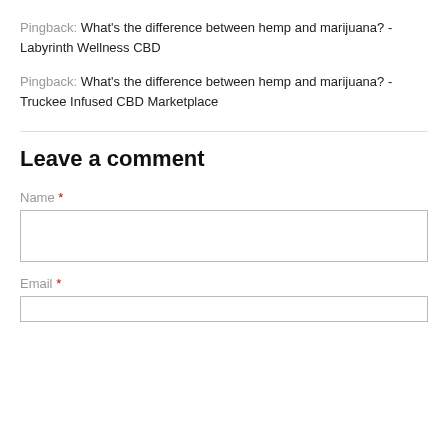Pingback: What's the difference between hemp and marijuana? - Labyrinth Wellness CBD
Pingback: What's the difference between hemp and marijuana? - Truckee Infused CBD Marketplace
Leave a comment
Name *
Email *